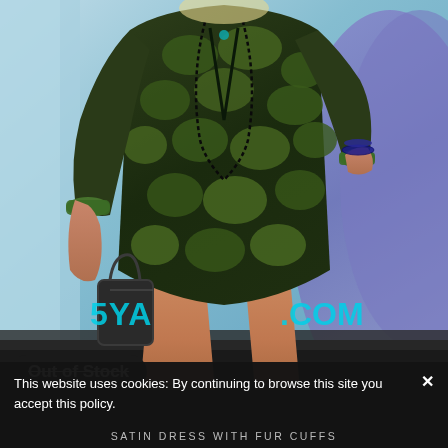[Figure (photo): A woman wearing a dark green and black giraffe-print satin dress with fur cuffs, holding a handbag, standing in front of a blue/purple backdrop with partial website text '5YA...COM' visible]
Out of Stock
This website uses cookies: By continuing to browse this site you accept this policy.
SATIN DRESS WITH FUR CUFFS